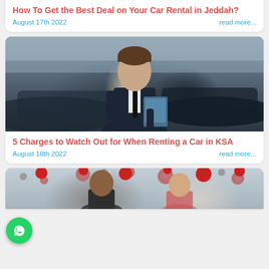How To Get the Best Deal on Your Car Rental in Jeddah?
August 17th 2022
read more...
[Figure (photo): A man in a dark suit holding a clipboard standing in a car dealership showroom with luxury cars in the background]
5 Charges to Watch Out for When Renting a Car in KSA
August 10th 2022
read more...
[Figure (photo): Two people (a man and a woman) in a showroom decorated with red and white ornamental balls hanging from the ceiling]